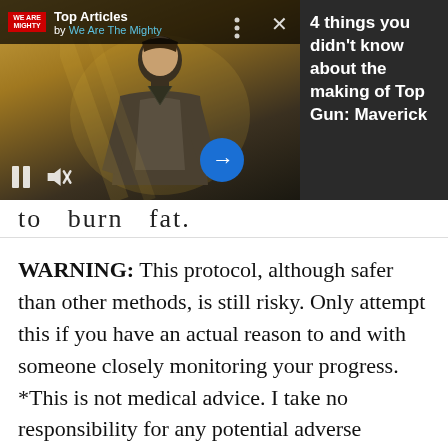[Figure (screenshot): An in-page video ad overlay showing a Top Gun: Maverick movie still with a person in a flight suit, overlaid with a 'Top Articles by We Are The Mighty' header bar, pause and mute controls at bottom left, a blue circular arrow button, and a close X button. The right panel shows dark background text: '4 things you didn't know about the making of Top Gun: Maverick'.]
to  burn  fat.
WARNING: This protocol, although safer than other methods, is still risky. Only attempt this if you have an actual reason to and with someone closely monitoring your progress. *This is not medical advice. I take no responsibility for any potential adverse effects.* In fact, I recommend